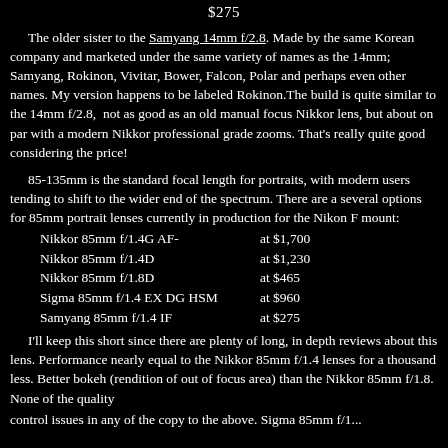$275
The older sister to the Samyang 14mm f/2.8. Made by the same Korean company and marketed under the same variety of names as the 14mm; Samyang, Rokinon, Vivitar, Bower, Falcon, Polar and perhaps even other names. My version happens to be labeled Rokinon.The build is quite similar to the 14mm f/2.8,  not as good as an old manual focus Nikkor lens, but about on par with a modern Nikkor professional grade zooms. That's really quite good considering the price!
85-135mm is the standard focal length for portraits, with modern users tending to shift to the wider end of the spectrum. There are a several options for 85mm portrait lenses currently in production for the Nikon F mount:
Nikkor 85mm f/1.4G AF-    at $1,700
Nikkor 85mm f/1.4D    at $1,230
Nikkor 85mm f/1.8D    at $465
Sigma 85mm f/1.4 EX DG HSM    at $960
Samyang 85mm f/1.4 IF    at $275
I'll keep this short since there are plenty of long, in depth reviews about this lens. Performance nearly equal to the Nikkor 85mm f/1.4 lenses for a thousand less. Better bokeh (rendition of out of focus area) than the Nikkor 85mm f/1.8. None of the quality control issues in any of the copy to the above. Sigma 85mm f/1...